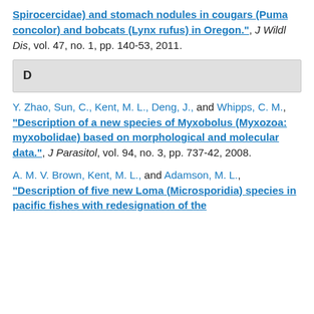Spirocercidae) and stomach nodules in cougars (Puma concolor) and bobcats (Lynx rufus) in Oregon.", J Wildl Dis, vol. 47, no. 1, pp. 140-53, 2011.
D
Y. Zhao, Sun, C., Kent, M. L., Deng, J., and Whipps, C. M., "Description of a new species of Myxobolus (Myxozoa: myxobolidae) based on morphological and molecular data.", J Parasitol, vol. 94, no. 3, pp. 737-42, 2008.
A. M. V. Brown, Kent, M. L., and Adamson, M. L., "Description of five new Loma (Microsporidia) species in pacific fishes with redesignation of the